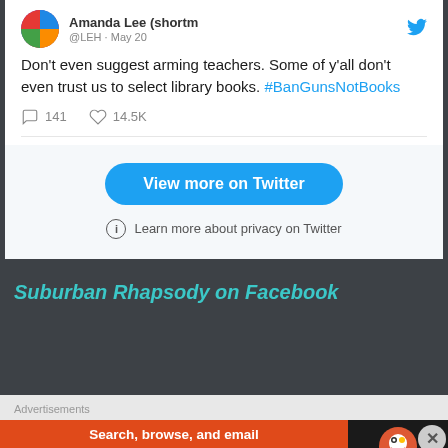[Figure (screenshot): Twitter/X embedded tweet card showing a tweet from Amanda Lee (shortm) saying: Don't even suggest arming teachers. Some of y'all don't even trust us to select library books. #BanGunsNotBooks — with 141 replies and 14.5K likes]
Don't even suggest arming teachers. Some of y'all don't even trust us to select library books. #BanGunsNotBooks
141    14.5K
View more on Twitter
Learn more about privacy on Twitter
Suburban Rhapsody on Facebook
Advertisements
[Figure (screenshot): DuckDuckGo advertisement banner: Search, browse, and email with more privacy. All in One Free App — with DuckDuckGo logo on dark background]